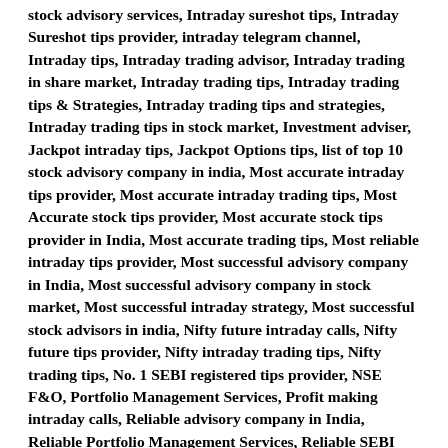stock advisory services, Intraday sureshot tips, Intraday Sureshot tips provider, intraday telegram channel, Intraday tips, Intraday trading advisor, Intraday trading in share market, Intraday trading tips, Intraday trading tips & Strategies, Intraday trading tips and strategies, Intraday trading tips in stock market, Investment adviser, Jackpot intraday tips, Jackpot Options tips, list of top 10 stock advisory company in india, Most accurate intraday tips provider, Most accurate intraday trading tips, Most Accurate stock tips provider, Most accurate stock tips provider in India, Most accurate trading tips, Most reliable intraday tips provider, Most successful advisory company in India, Most successful advisory company in stock market, Most successful intraday strategy, Most successful stock advisors in india, Nifty future intraday calls, Nifty future tips provider, Nifty intraday trading tips, Nifty trading tips, No. 1 SEBI registered tips provider, NSE F&O, Portfolio Management Services, Profit making intraday calls, Reliable advisory company in India, Reliable Portfolio Management Services, Reliable SEBI registered tips provider, SEBI registered advisor, SEBI Registered advisory company, SEBI registered advisory company in